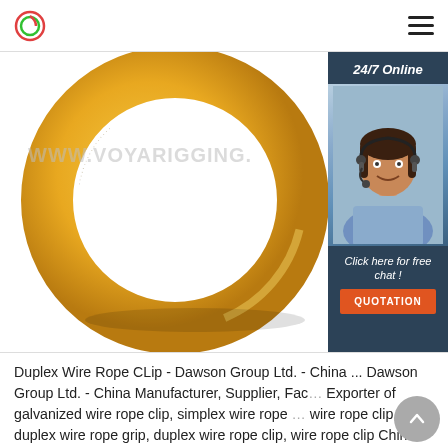Logo and navigation menu
[Figure (photo): A large golden/yellow colored steel lifting ring (round sling ring) on a white background, with WWW.VOYARIGGING watermark overlaid. A 24/7 Online chat widget appears on the right side with a woman wearing a headset, text 'Click here for free chat!' and an orange QUOTATION button.]
Duplex Wire Rope CLip - Dawson Group Ltd. - China ... Dawson Group Ltd. - China Manufacturer, Supplier, Factory, Exporter of galvanized wire rope clip, simplex wire rope clip, wire rope clip, duplex wire rope grip, duplex wire rope clip, wire rope clip China supplier, wire rope clip China manufacturer, wire rope clip China supplier, wire rope clip China factory, high